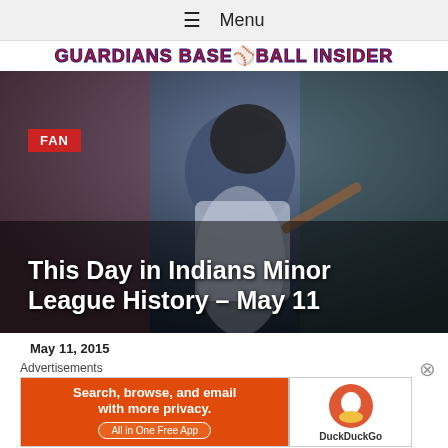≡ Menu
[Figure (logo): Guardians Baseball Insider site logo in bold red text with navy outline]
[Figure (photo): Baseball player in blue jersey and helmet swinging a bat, crowd in background]
FAN
This Day in Indians Minor League History – May 11
May 11, 2015
Advertisements
[Figure (other): DuckDuckGo advertisement banner: Search, browse, and email with more privacy. All in One Free App. DuckDuckGo logo on right.]